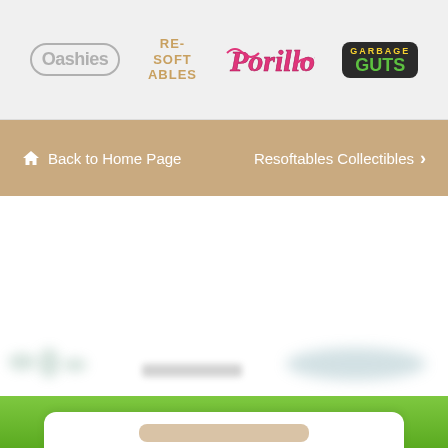Ooshies | Resoftables | Gorillows | Garbage Guts - navigation logos
Back to Home Page | Resoftables Collectibles >
[Figure (screenshot): Blurred product images partially visible in main content area - two product items with text below]
[Figure (screenshot): Green footer section with white rounded card/button partially visible at bottom]